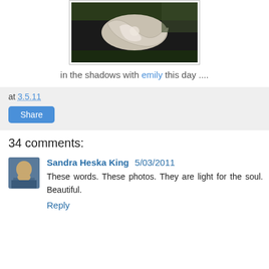[Figure (photo): Photograph of a decorative carved stone or ceramic object with swirling patterns, photographed in shadows with dappled light]
in the shadows with emily this day ....
at 3.5.11
Share
34 comments:
Sandra Heska King  5/03/2011
These words. These photos. They are light for the soul. Beautiful.
Reply